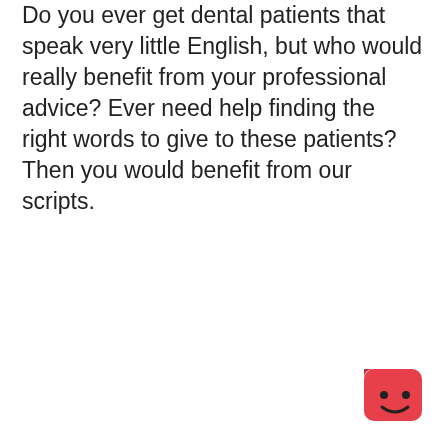Do you ever get dental patients that speak very little English, but who would really benefit from your professional advice? Ever need help finding the right words to give to these patients? Then you would benefit from our scripts.
[Figure (logo): A red rounded-square shaped cartoon character with a smiling face, resembling a simple mascot logo.]